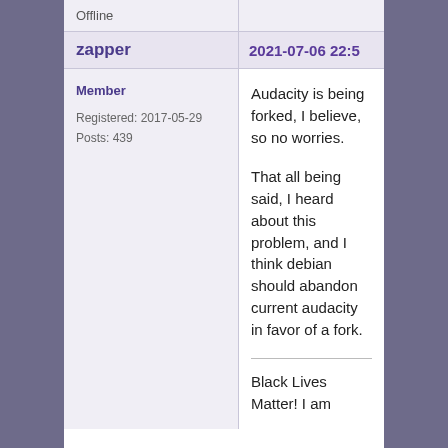Offline
zapper
2021-07-06 22:5
Member
Registered: 2017-05-29
Posts: 439
Audacity is being forked, I believe, so no worries.

That all being said, I heard about this problem, and I think debian should abandon current audacity in favor of a fork.

Black Lives Matter!  I am